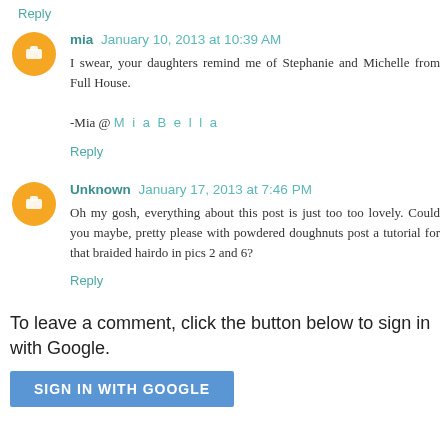Reply
mia  January 10, 2013 at 10:39 AM
I swear, your daughters remind me of Stephanie and Michelle from Full House.

-Mia @ M i a B e l l a
Reply
Unknown  January 17, 2013 at 7:46 PM
Oh my gosh, everything about this post is just too too lovely. Could you maybe, pretty please with powdered doughnuts post a tutorial for that braided hairdo in pics 2 and 6?
Reply
To leave a comment, click the button below to sign in with Google.
SIGN IN WITH GOOGLE